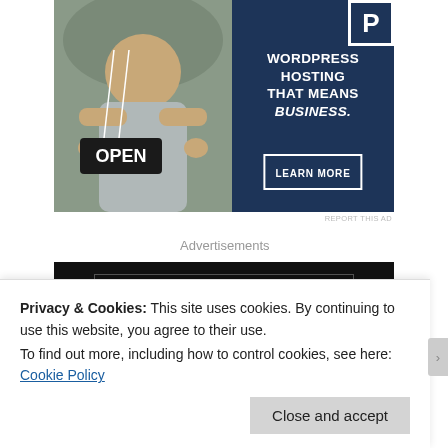[Figure (illustration): Advertisement banner: left side shows a photo of a woman holding an OPEN sign, right side has dark navy background with white 'P' logo, text 'WORDPRESS HOSTING THAT MEANS BUSINESS.' and a 'LEARN MORE' button.]
REPORT THIS AD
Advertisements
[Figure (other): Black advertisement strip area with a dark bordered rectangle inside.]
Privacy & Cookies: This site uses cookies. By continuing to use this website, you agree to their use.
To find out more, including how to control cookies, see here:
Cookie Policy
Close and accept